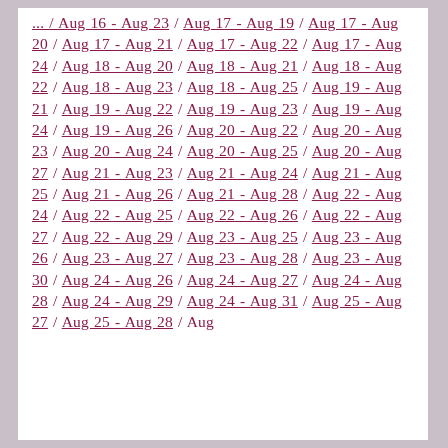... / Aug 16 - Aug 23 / Aug 17 - Aug 19 / Aug 17 - Aug 20 / Aug 17 - Aug 21 / Aug 17 - Aug 22 / Aug 17 - Aug 24 / Aug 18 - Aug 20 / Aug 18 - Aug 21 / Aug 18 - Aug 22 / Aug 18 - Aug 23 / Aug 18 - Aug 25 / Aug 19 - Aug 21 / Aug 19 - Aug 22 / Aug 19 - Aug 23 / Aug 19 - Aug 24 / Aug 19 - Aug 26 / Aug 20 - Aug 22 / Aug 20 - Aug 23 / Aug 20 - Aug 24 / Aug 20 - Aug 25 / Aug 20 - Aug 27 / Aug 21 - Aug 23 / Aug 21 - Aug 24 / Aug 21 - Aug 25 / Aug 21 - Aug 26 / Aug 21 - Aug 28 / Aug 22 - Aug 24 / Aug 22 - Aug 25 / Aug 22 - Aug 26 / Aug 22 - Aug 27 / Aug 22 - Aug 29 / Aug 23 - Aug 25 / Aug 23 - Aug 26 / Aug 23 - Aug 27 / Aug 23 - Aug 28 / Aug 23 - Aug 30 / Aug 24 - Aug 26 / Aug 24 - Aug 27 / Aug 24 - Aug 28 / Aug 24 - Aug 29 / Aug 24 - Aug 31 / Aug 25 - Aug 27 / Aug 25 - Aug 28 / Aug 25 - Aug ...